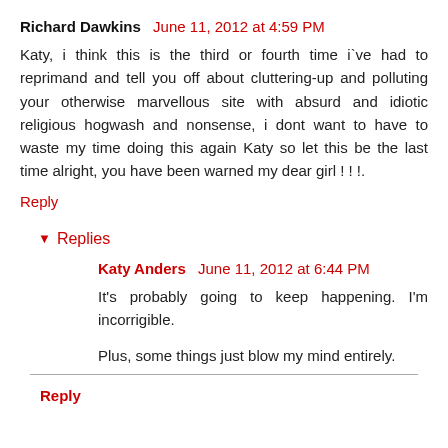Richard Dawkins  June 11, 2012 at 4:59 PM
Katy, i think this is the third or fourth time i`ve had to reprimand and tell you off about cluttering-up and polluting your otherwise marvellous site with absurd and idiotic religious hogwash and nonsense, i dont want to have to waste my time doing this again Katy so let this be the last time alright, you have been warned my dear girl ! ! !.
Reply
Replies
Katy Anders  June 11, 2012 at 6:44 PM
It's probably going to keep happening. I'm incorrigible.
Plus, some things just blow my mind entirely.
Reply